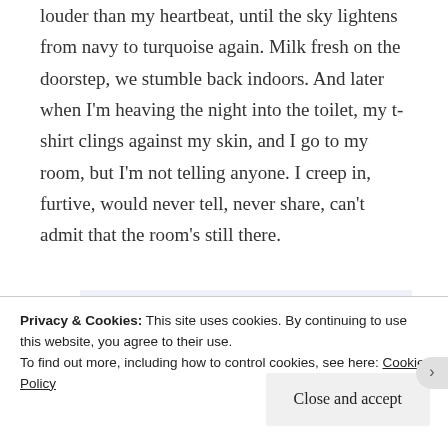louder than my heartbeat, until the sky lightens from navy to turquoise again. Milk fresh on the doorstep, we stumble back indoors. And later when I'm heaving the night into the toilet, my t-shirt clings against my skin, and I go to my room, but I'm not telling anyone. I creep in, furtive, would never tell, never share, can't admit that the room's still there.
[Figure (other): Advertisement banner with large serif text 'the go.' and blue 'GET THE APP' call to action, with WordPress logo icon on the right, on a light blue-grey background.]
Privacy & Cookies: This site uses cookies. By continuing to use this website, you agree to their use.
To find out more, including how to control cookies, see here: Cookie Policy